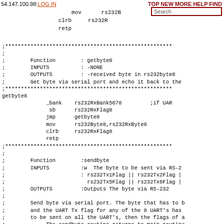54.147.100.98: LOG IN  mov  rs232B  TOP NEW MORE HELP FIND  clrb  rs232R  Search  retp
;***********************************************************
;
;        Function        : getbyte8
;        INPUTS          : -NONE
;        OUTPUTS         : -received byte in rs232byte8
;        Get byte via serial port and echo it back to the
;***********************************************************
getbyte8
              _bank    rs232RxBank5678         ;if UAR
               sb      rs232RxFlag8
              jmp      getbyte8
              mov      rs232Byte8,rs232RxByte8
              clrb     rs232RxFlag8
              retp
;***********************************************************
;
;        Function        :sendbyte
;        INPUTS          :w  The byte to be sent via RS-2
;                        : rs232Tx1Flag || rs232Tx2Flag |
;                          rs232Tx5Flag || rs232Tx6Flag |
;        OUTPUTS         :Outputs The byte via RS-232
;
;        Send byte via serial port. The byte that has to b
;        and the UART Tx flag for any of the 8 UART's has
;        to be sent on all the UART's, then the flags of a
;             The sendbyte routine returns to main routine
;***********************************************************